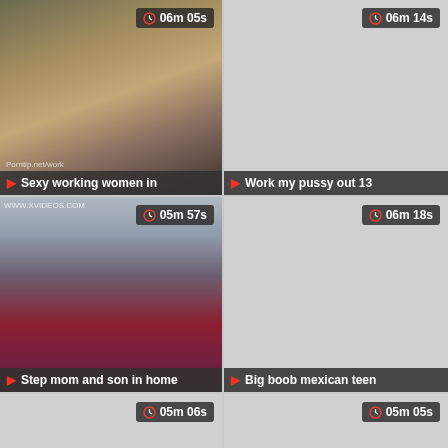[Figure (screenshot): Video thumbnail grid showing adult video thumbnails with duration badges and title bars. Top-left: blonde woman, duration 06m 05s, title 'Sexy working women in'. Top-right: gray placeholder, duration 06m 14s, title 'Work my pussy out 13'. Middle-left: red dress bathroom scene, duration 05m 57s, title 'Step mom and son in home'. Middle-right: gray placeholder, duration 06m 18s, title 'Big boob mexican teen'. Bottom-left: gray placeholder, duration 05m 06s. Bottom-right: gray placeholder, duration 05m 05s.]